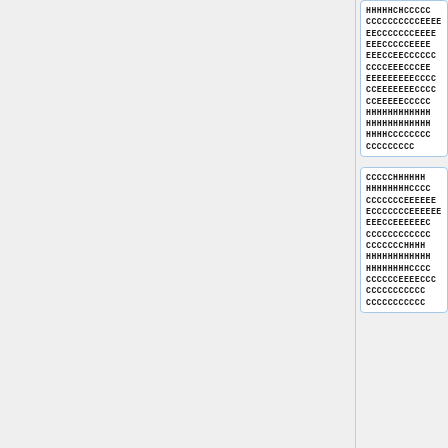HHHHHCHCCCCC
CCCCCCCCCCEEEE
EECCCCCCCCEEEE
EEECCCCCEEEEE
EEECCEECCCCCC
CCCCEEECCCEEE
EEEEEEEECCCCC
CCEEEEEEECCCC
CCEEEEECCCCCC
HHHHHHHHHHHH
HHHHHHHHHHHH
HHHHCCCCCCCC
CCCCCCCCC
CCCCCHHHHHH
HHHHHHHHCCCC
CCCCCCCEEEEE
ECCCCCCCEEEEE
EEECCEEEEEEEC
CCCCCCCCCCCC
CCCCCCCHHHHH
HHHHHHHHHHHH
HHHHHHHHCCCC
CCCCCCEEECCC
CCCCCCCCCCC
CCCCCCCCCCC